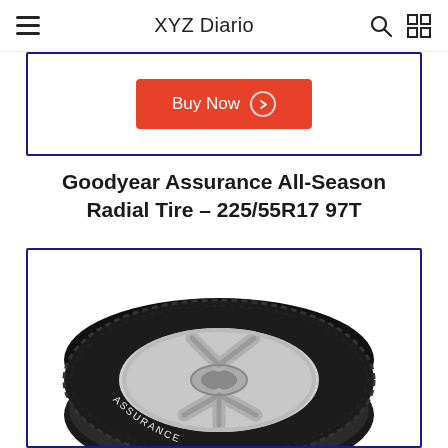XYZ Diario
[Figure (screenshot): Partial product card showing a red 'Buy Now' button with circle arrow icon, inside a dark blue bordered card]
Goodyear Assurance All-Season Radial Tire – 225/55R17 97T
[Figure (photo): Goodyear Assurance All-Season radial tire with silver alloy wheel, shown at an angle inside a dark blue bordered card]